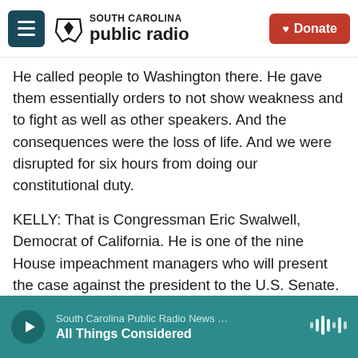South Carolina Public Radio — Donate
He called people to Washington there. He gave them essentially orders to not show weakness and to fight as well as other speakers. And the consequences were the loss of life. And we were disrupted for six hours from doing our constitutional duty.
KELLY: That is Congressman Eric Swalwell, Democrat of California. He is one of the nine House impeachment managers who will present the case against the president to the U.S. Senate.
Congressman, thank you.
South Carolina Public Radio News … All Things Considered